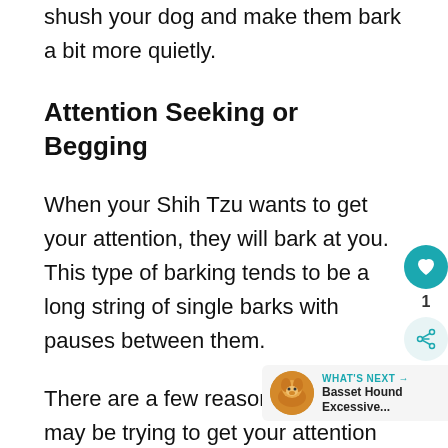shush your dog and make them bark a bit more quietly.
Attention Seeking or Begging
When your Shih Tzu wants to get your attention, they will bark at you. This type of barking tends to be a long string of single barks with pauses between them.
There are a few reasons why he may be trying to get your attention and it's important to try and figure out what it is.
Some reasons your Shih Tzu may want your attention include but is not limited to